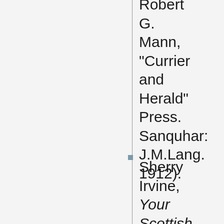Robert G. Mann, "Currier and Herald" Press. Sanquhar: J.M.Lang. 1912).
Sherry Irvine, Your Scottish Ancestry (pub